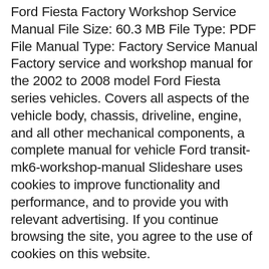Ford Fiesta Factory Workshop Service Manual File Size: 60.3 MB File Type: PDF File Manual Type: Factory Service Manual Factory service and workshop manual for the 2002 to 2008 model Ford Fiesta series vehicles. Covers all aspects of the vehicle body, chassis, driveline, engine, and all other mechanical components, a complete manual for vehicle Ford transit-mk6-workshop-manual Slideshare uses cookies to improve functionality and performance, and to provide you with relevant advertising. If you continue browsing the site, you agree to the use of cookies on this website.
Download Ford Transit Mk6 Workshop